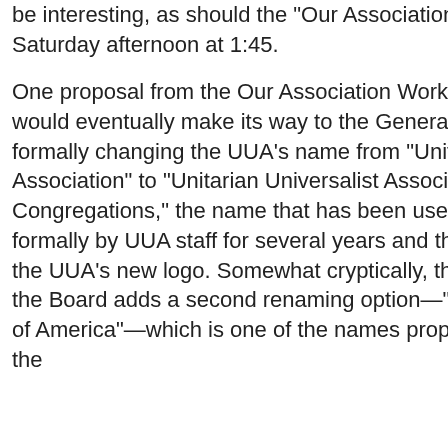be interesting, as should the "Our Association" discussion Saturday afternoon at 1:45.
One proposal from the Our Association Working Group that would eventually make its way to the General Assembly involves formally changing the UUA's name from "Unitarian Universalist Association" to "Unitarian Universalist Association of Congregations," the name that has been used somewhat formally by UUA staff for several years and that is reflected in the UUA's new logo. Somewhat cryptically, the main agenda for the Board adds a second renaming option—"The Liberal Church of America"—which is one of the names proposed back when the
My guide to UU blogs
Interdependent web
UUpdates (aggregator)
UUBlogSearch
UU podcasts
News (Google)
News (Topix)
News (uuworld.org)
UUs in the media
(Weekly) Your support helps pay for this site.
Keeping up